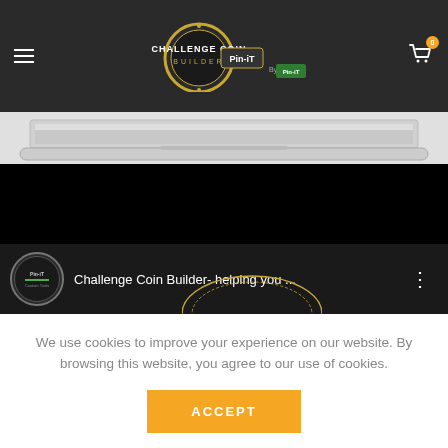Challenge Coin Builder – navigation header with logo and cart
[Figure (screenshot): Laptop computer partially visible at top of page content area]
[Figure (screenshot): Black video player area showing Challenge Coin Builder video with Pin-iT channel icon and title 'Challenge Coin Builder- helping you ...' with three-dot menu]
We use cookies to improve your experience on our website. By browsing this website, you agree to our use of cookies.
ACCEPT